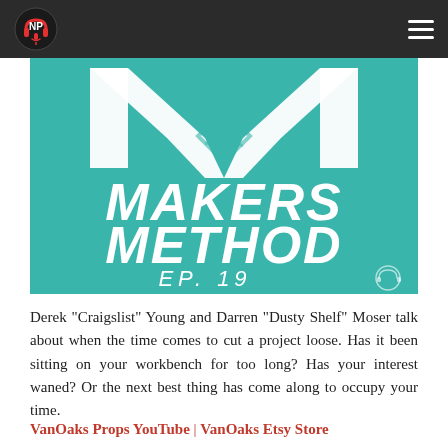NP logo and hamburger menu
[Figure (illustration): Makers Method EP. 19 podcast cover art on teal background with large stylized M and bold white italic text]
Derek "Craigslist" Young and Darren "Dusty Shelf" Moser talk about when the time comes to cut a project loose. Has it been sitting on your workbench for too long? Has your interest waned? Or the next best thing has come along to occupy your time.
VanOaks Props YouTube | VanOaks Etsy Store